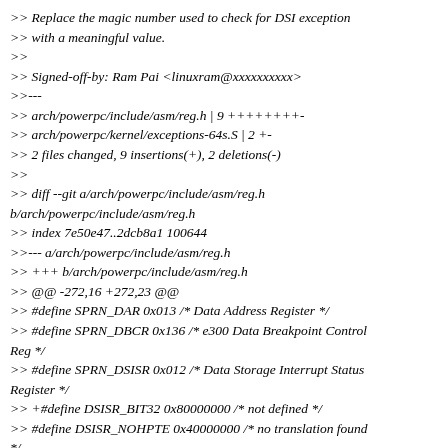>> Replace the magic number used to check for DSI exception
>> with a meaningful value.
>>
>> Signed-off-by: Ram Pai <linuxram@xxxxxxxxxx>
>> ---
>> arch/powerpc/include/asm/reg.h | 9 ++++++++- 
>> arch/powerpc/kernel/exceptions-64s.S | 2 +-
>> 2 files changed, 9 insertions(+), 2 deletions(-)
>>
>> diff --git a/arch/powerpc/include/asm/reg.h b/arch/powerpc/include/asm/reg.h
>> index 7e50e47..2dcb8a1 100644
>> --- a/arch/powerpc/include/asm/reg.h
>> +++ b/arch/powerpc/include/asm/reg.h
>> @@ -272,16 +272,23 @@
>> #define SPRN_DAR 0x013 /* Data Address Register */
>> #define SPRN_DBCR 0x136 /* e300 Data Breakpoint Control Reg */
>> #define SPRN_DSISR 0x012 /* Data Storage Interrupt Status Register */
>> +#define DSISR_BIT32 0x80000000 /* not defined */
>> #define DSISR_NOHPTE 0x40000000 /* no translation found */
>> +#define DSISR_PAGEATTR_CONFLT 0x20000000 /* page attribute conflict */